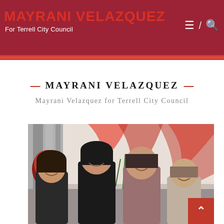MAYRANI VELAZQUEZ
For Terrell City Council
MAYRANI VELAZQUEZ
Mayrani Velazquez for Terrell City Council
[Figure (photo): Group photo of four people (three women and one man) standing together at an event venue decorated with red fabric drapes and a red bow arrangement. The background shows red and white fabric decorations.]